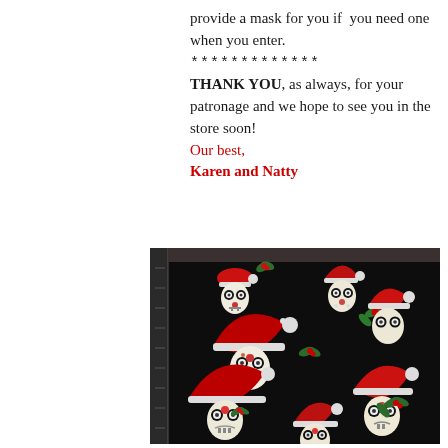provide a mask for you if you need one when you enter.
*************
THANK YOU, as always, for your patronage and we hope to see you in the store soon!
Our best,
Karen and Natty
[Figure (photo): Photo of black fabric with sugar skull Santa pattern — skulls wearing red Santa hats with white pom-poms, decorated with colorful floral motifs, surrounded by green holly sprigs and red berries, laid out on a cutting mat.]